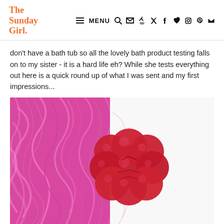The Sunday Girl. MENU
don't have a bath tub so all the lovely bath product testing falls on to my sister - it is a hard life eh? While she tests everything out here is a quick round up of what I was sent and my first impressions...
[Figure (photo): A red flower-shaped bath product/soap sitting on pink shredded paper/tinsel against a white background]